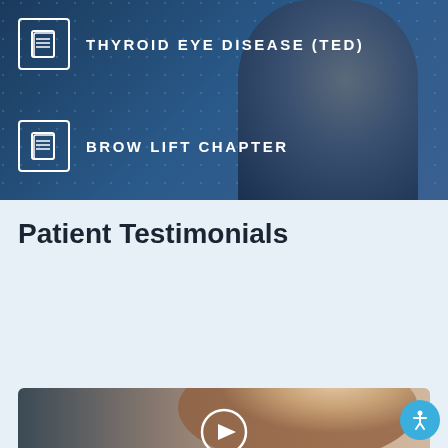[Figure (screenshot): Dark blue banner with dotted pattern background showing two menu items with document icons: 'THYROID EYE DISEASE (TED)' and 'BROW LIFT CHAPTER', with a blurred face silhouette on the right]
THYROID EYE DISEASE (TED)
BROW LIFT CHAPTER
Patient Testimonials
CONTACT US TODAY
[Figure (photo): Video thumbnail showing a woman with dark hair raising her hand, with a play button overlay in the center]